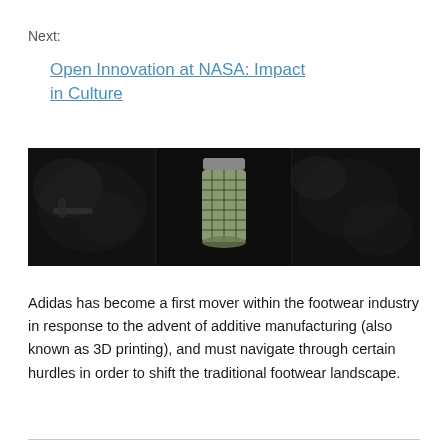Next:
Open Innovation at NASA: Impact in Culture
[Figure (photo): Dark composite image showing three panels: left panel with smoky/mechanical elements, center panel with a 3D printed shoe midsole on a dark background, right panel with dark textured elements.]
Adidas has become a first mover within the footwear industry in response to the advent of additive manufacturing (also known as 3D printing), and must navigate through certain hurdles in order to shift the traditional footwear landscape.